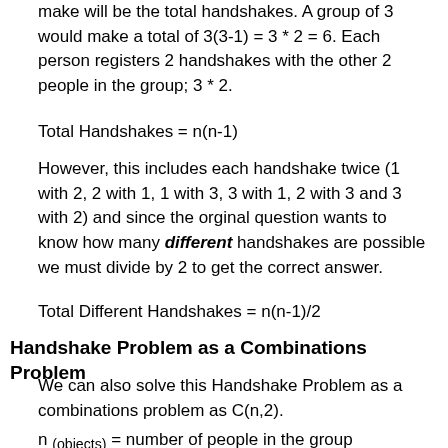make will be the total handshakes. A group of 3 would make a total of 3(3-1) = 3 * 2 = 6. Each person registers 2 handshakes with the other 2 people in the group; 3 * 2.
However, this includes each handshake twice (1 with 2, 2 with 1, 1 with 3, 3 with 1, 2 with 3 and 3 with 2) and since the orginal question wants to know how many different handshakes are possible we must divide by 2 to get the correct answer.
Handshake Problem as a Combinations Problem
We can also solve this Handshake Problem as a combinations problem as C(n,2).
n (objects) = number of people in the group